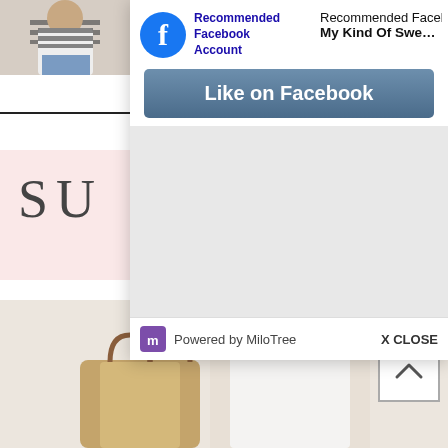[Figure (screenshot): Screenshot of a webpage showing a Facebook 'Like' popup overlay on a fashion/lifestyle blog. The popup shows 'Recommended Facebook Account', 'My Kind Of Sweet - Style + S...' page title, a 'Like on Facebook' button, and 'Powered by MiloTree' footer with 'X CLOSE' option. Behind the popup: a blog page with a photo of a person in a striped shirt, a pink banner with 'SU' text (partially visible), and below a model in a white dress with a straw tote bag and wide-brim hat.]